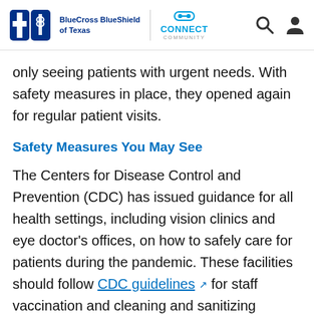BlueCross BlueShield of Texas | CONNECT COMMUNITY
only seeing patients with urgent needs. With safety measures in place, they opened again for regular patient visits.
Safety Measures You May See
The Centers for Disease Control and Prevention (CDC) has issued guidance for all health settings, including vision clinics and eye doctor's offices, on how to safely care for patients during the pandemic. These facilities should follow CDC guidelines for staff vaccination and cleaning and sanitizing equipment and surfaces.
According to these guidelines, all doctors, staff and